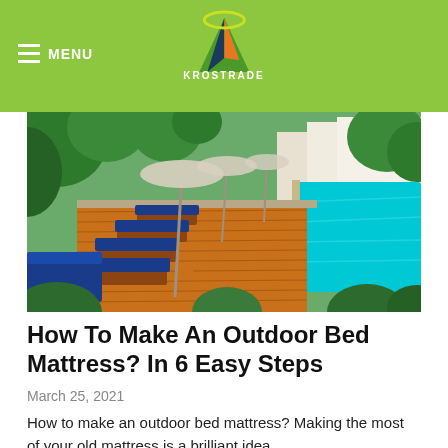MENU | KROSTRADE
[Figure (photo): Outdoor pool area with lounge chairs featuring blue cushions on a wooden deck, surrounded by tropical plants, with a swimming pool on the right side.]
How To Make An Outdoor Bed Mattress? In 6 Easy Steps
March 25, 2021
How to make an outdoor bed mattress? Making the most of your old mattress is a brilliant idea.